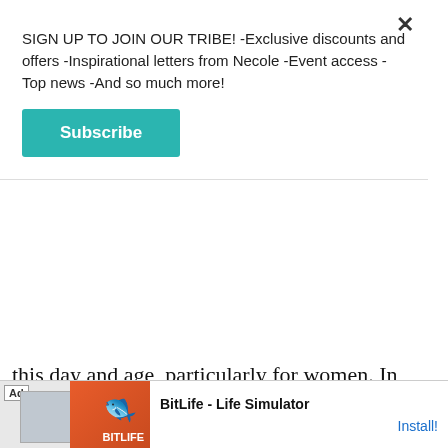SIGN UP TO JOIN OUR TRIBE! -Exclusive discounts and offers -Inspirational letters from Necole -Event access -Top news -And so much more!
Subscribe
this day and age, particularly for women. In more recent years, people are starting to respect and appreciate the balance of self-care. mental health. and wellness with a best self. I started to a.m.---so that I could half of my day to ca So that includes meditation, journaling, or listening
[Figure (screenshot): Ad banner for BitLife - Life Simulator app with logo and Install button]